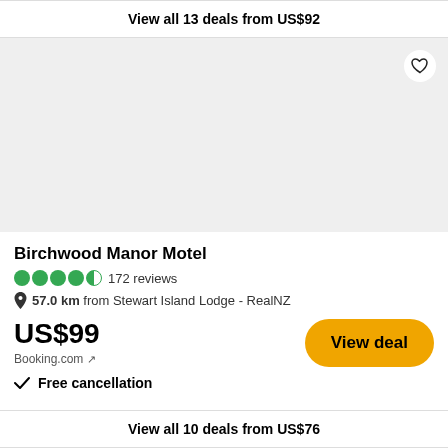View all 13 deals from US$92
[Figure (other): Hotel image placeholder area (light gray background) with a heart/favorite icon button in the top-right corner]
Birchwood Manor Motel
4.5 stars · 172 reviews
57.0 km from Stewart Island Lodge - RealNZ
US$99
Booking.com ↗
✓  Free cancellation
View deal
View all 10 deals from US$76